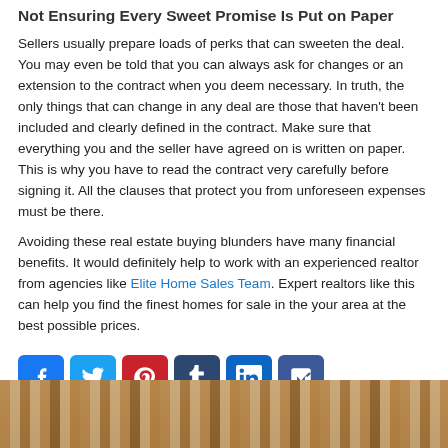Not Ensuring Every Sweet Promise Is Put on Paper
Sellers usually prepare loads of perks that can sweeten the deal. You may even be told that you can always ask for changes or an extension to the contract when you deem necessary. In truth, the only things that can change in any deal are those that haven't been included and clearly defined in the contract. Make sure that everything you and the seller have agreed on is written on paper. This is why you have to read the contract very carefully before signing it. All the clauses that protect you from unforeseen expenses must be there.
Avoiding these real estate buying blunders have many financial benefits. It would definitely help to work with an experienced realtor from agencies like Elite Home Sales Team. Expert realtors like this can help you find the finest homes for sale in the your area at the best possible prices.
[Figure (other): Social media sharing icons: Facebook, Twitter, Pinterest, Tumblr, LinkedIn, More]
[Figure (photo): Partial bottom image showing wooden/architectural elements, likely a home exterior]